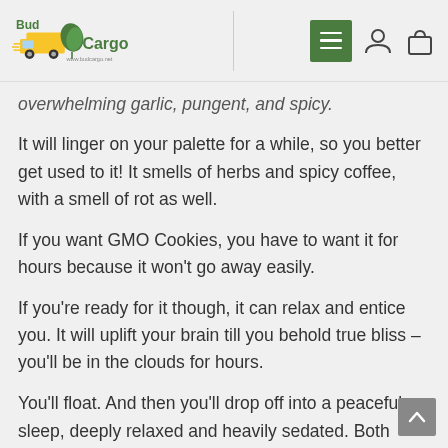BudCargo — www.budcargo.net — navigation header
overwhelming garlic, pungent, and spicy.
It will linger on your palette for a while, so you better get used to it! It smells of herbs and spicy coffee, with a smell of rot as well.
If you want GMO Cookies, you have to want it for hours because it won't go away easily.
If you're ready for it though, it can relax and entice you. It will uplift your brain till you behold true bliss – you'll be in the clouds for hours.
You'll float. And then you'll drop off into a peaceful sleep, deeply relaxed and heavily sedated. Both mind and body give in to the